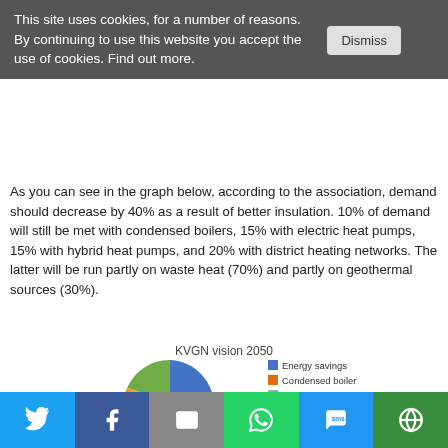This site uses cookies, for a number of reasons. By continuing to use this website you accept the use of cookies. Find out more.
As you can see in the graph below, according to the association, demand should decrease by 40% as a result of better insulation. 10% of demand will still be met with condensed boilers, 15% with electric heat pumps, 15% with hybrid heat pumps, and 20% with district heating networks. The latter will be run partly on waste heat (70%) and partly on geothermal sources (30%).
[Figure (pie-chart): KVGN vision 2050]
Social share bar: Twitter, Facebook, Email, WhatsApp, SMS, Other